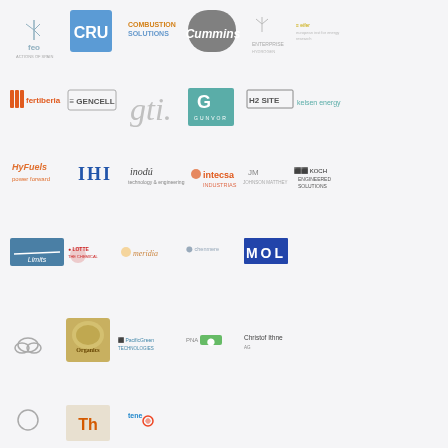[Figure (logo): Page of sponsor/partner logos arranged in a grid. Row 1: feo (wind energy), CRU (blue box), Combustion Solutions, Cummins, Enterprise (wind), eifer. Row 2: Fertiberia, GENCELL, gti, GUNVOR (teal box), H2SITE, Kelsen Energy. Row 3: HyFuels, IHI, inodú, intecsa, JM, KOCH. Row 4: Limits (blue box), LOTTE, Meridia, chenmere, MOL. Row 5: OGS, Organics (circle logo), PacificGreen, PNA, Christof Ithne. Row 6 (partial): unknown, TH, tene/other logos.]